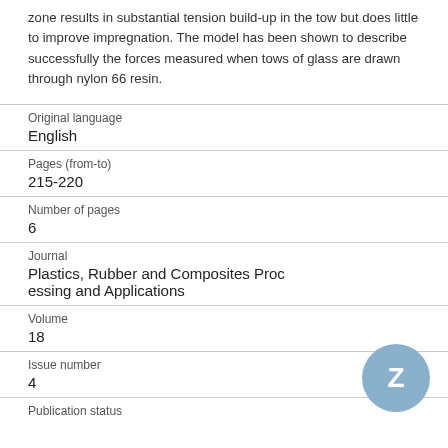zone results in substantial tension build-up in the tow but does little to improve impregnation. The model has been shown to describe successfully the forces measured when tows of glass are drawn through nylon 66 resin.
| Original language | English |
| Pages (from-to) | 215-220 |
| Number of pages | 6 |
| Journal | Plastics, Rubber and Composites Processing and Applications |
| Volume | 18 |
| Issue number | 4 |
| Publication status |  |